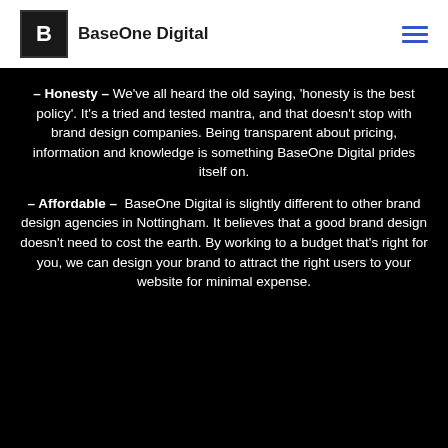BaseOne Digital
– Honesty – We've all heard the old saying, 'honesty is the best policy'. It's a tried and tested mantra, and that doesn't stop with brand design companies. Being transparent about pricing, information and knowledge is something BaseOne Digital prides itself on.
– Affordable – BaseOne Digital is slightly different to other brand design agencies in Nottingham. It believes that a good brand design doesn't need to cost the earth. By working to a budget that's right for you, we can design your brand to attract the right users to your website for minimal expense.